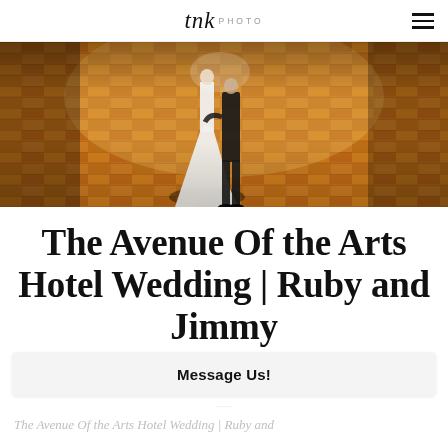tnk PHOTO
[Figure (photo): A wedding couple silhouetted against a warm golden-orange brick tile floor, viewed from behind. The bride is in a white dress and the groom in a dark suit.]
The Avenue Of the Arts Hotel Wedding | Ruby and Jimmy
—
Message Us!
The Avenue Of the Arts Hotel Wedding | Ruby and